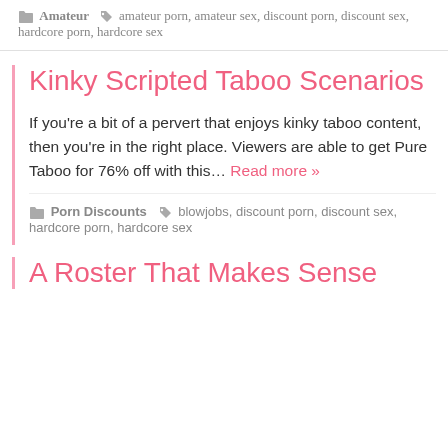Amateur  amateur porn, amateur sex, discount porn, discount sex, hardcore porn, hardcore sex
Kinky Scripted Taboo Scenarios
If you're a bit of a pervert that enjoys kinky taboo content, then you're in the right place. Viewers are able to get Pure Taboo for 76% off with this… Read more »
Porn Discounts  blowjobs, discount porn, discount sex, hardcore porn, hardcore sex
A Roster That Makes Sense